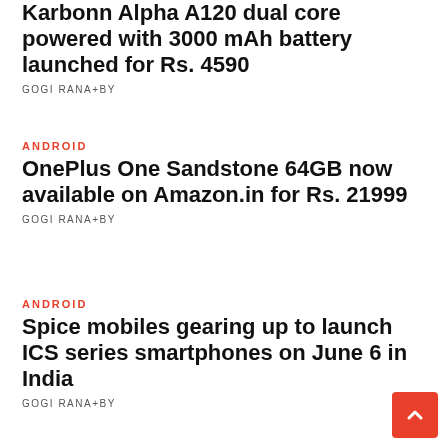Karbonn Alpha A120 dual core powered with 3000 mAh battery launched for Rs. 4590
GOGI RANA+BY
ANDROID
OnePlus One Sandstone 64GB now available on Amazon.in for Rs. 21999
GOGI RANA+BY
ANDROID
Spice mobiles gearing up to launch ICS series smartphones on June 6 in India
GOGI RANA+BY